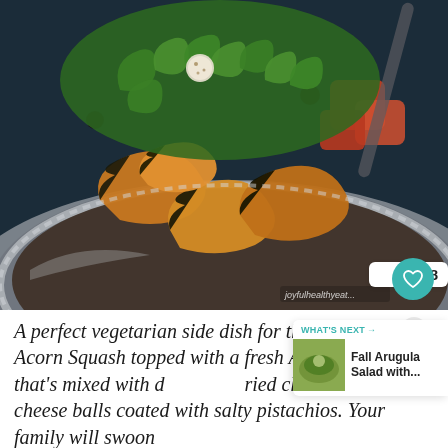[Figure (photo): A silver bowl filled with roasted acorn squash slices (dark green skin, orange flesh) topped with fresh arugula greens, on a dark blue-grey surface. The dish is photographed from above/slightly angled.]
A perfect vegetarian side dish for the fall Roasted Acorn Squash topped with a fresh Arugula Salad that's mixed with dried cherries and goat cheese balls coated with salty pistachios. Your family will swoon
joyfulhealthyeat...